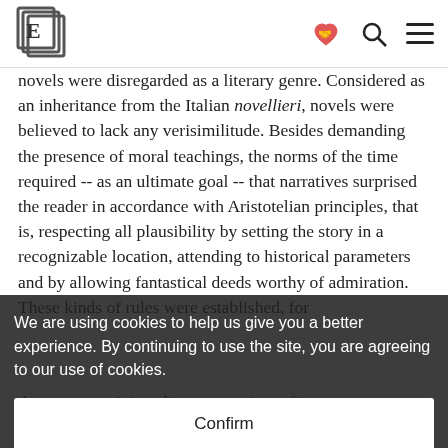E logo + heart icon + search icon + menu icon
novels were disregarded as a literary genre. Considered as an inheritance from the Italian novellieri, novels were believed to lack any verisimilitude. Besides demanding the presence of moral teachings, the norms of the time required -- as an ultimate goal -- that narratives surprised the reader in accordance with Aristotelian principles, that is, respecting all plausibility by setting the story in a recognizable location, attending to historical parameters and by allowing fantastical deeds worthy of admiration. These kinds of rules were established, for
We are using cookies to help us give you a better experience. By continuing to use the site, you are agreeing to our use of cookies.
Confirm
the most prestigious literary treatises of its